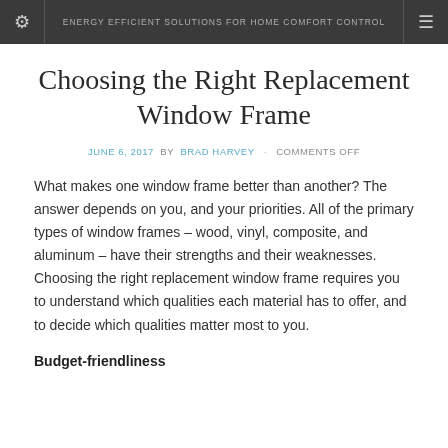ENERGY EFFICIENT SOLUTIONS FOR HOME COMFORT CONTROL
Choosing the Right Replacement Window Frame
JUNE 6, 2017 BY BRAD HARVEY · COMMENTS OFF
What makes one window frame better than another? The answer depends on you, and your priorities. All of the primary types of window frames – wood, vinyl, composite, and aluminum – have their strengths and their weaknesses. Choosing the right replacement window frame requires you to understand which qualities each material has to offer, and to decide which qualities matter most to you.
Budget-friendliness